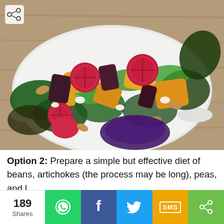[Figure (photo): A colorful roasted beet and kale salad on a white rectangular plate, featuring red and golden beets, dark kale leaves, arugula, goat cheese crumbles, and whole almonds on a wooden surface. A share icon appears in the top-left corner.]
Option 2: Prepare a simple but effective diet of beans, artichokes (the process may be long), peas, and l...
189 Shares